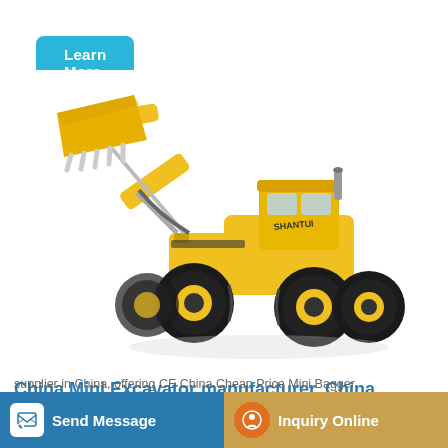Learn More
[Figure (photo): Yellow wheel loader / front loader excavator with raised bucket arm, photographed on white background. Brand markings visible on cab.]
China Mini Excavator manufacturer, China Excavator, Mini
Send Message
Inquiry Online
supplier in China, offering CE China Cheap Price Mini Bagger